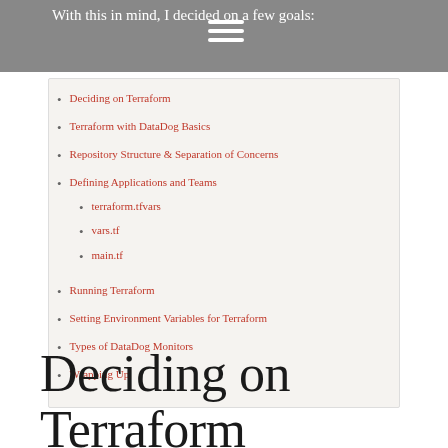With this in mind, I decided on a few goals:
Deciding on Terraform
Terraform with DataDog Basics
Repository Structure & Separation of Concerns
Defining Applications and Teams
terraform.tfvars
vars.tf
main.tf
Running Terraform
Setting Environment Variables for Terraform
Types of DataDog Monitors
Wrapping Up
Deciding on Terraform